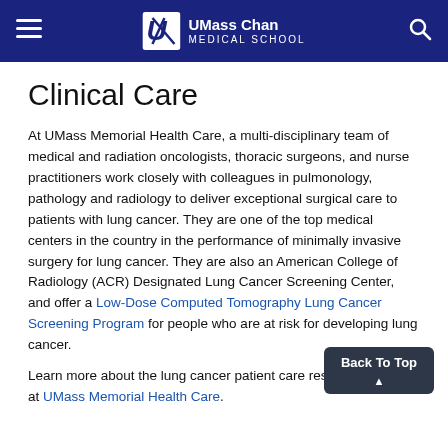UMass Chan Medical School
Clinical Care
At UMass Memorial Health Care, a multi-disciplinary team of medical and radiation oncologists, thoracic surgeons, and nurse practitioners work closely with colleagues in pulmonology, pathology and radiology to deliver exceptional surgical care to patients with lung cancer. They are one of the top medical centers in the country in the performance of minimally invasive surgery for lung cancer. They are also an American College of Radiology (ACR) Designated Lung Cancer Screening Center, and offer a Low-Dose Computed Tomography Lung Cancer Screening Program for people who are at risk for developing lung cancer.
Learn more about the lung cancer patient care resources offered at UMass Memorial Health Care.